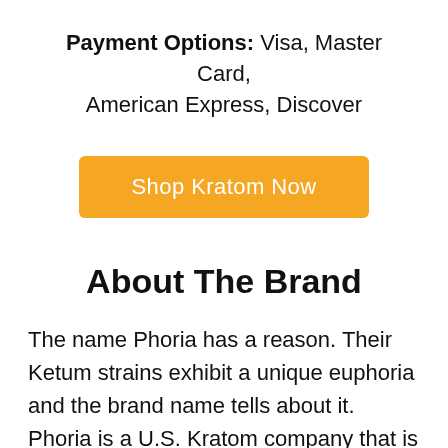Payment Options: Visa, Master Card, American Express, Discover
[Figure (other): Orange button labeled 'Shop Kratom Now']
About The Brand
The name Phoria has a reason. Their Ketum strains exhibit a unique euphoria and the brand name tells about it. Phoria is a U.S. Kratom company that is based out of Miami, Florida. They promise that